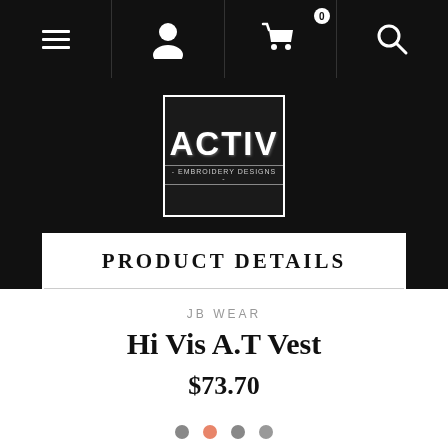Navigation bar with hamburger menu, user icon, cart (0), and search icon
[Figure (logo): ACTIV Embroidery Designs logo in white on black background, square border]
PRODUCT DETAILS
JB WEAR
Hi Vis A.T Vest
$73.70
[Figure (other): Carousel indicator dots: four dots, second one highlighted in orange/coral]